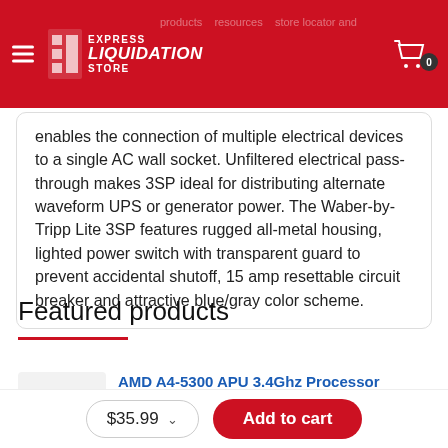EXPRESS LIQUIDATION STORE
enables the connection of multiple electrical devices to a single AC wall socket. Unfiltered electrical pass-through makes 3SP ideal for distributing alternate waveform UPS or generator power. The Waber-by-Tripp Lite 3SP features rugged all-metal housing, lighted power switch with transparent guard to prevent accidental shutoff, 15 amp resettable circuit breaker and attractive blue/gray color scheme.
Featured products
AMD A4-5300 APU 3.4Ghz Processor
AD53OOKUBOX
$35.99
Add to cart